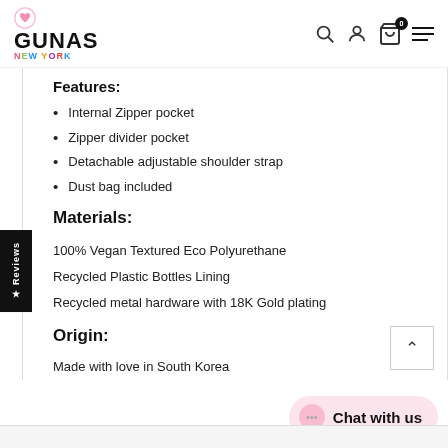GUNAS NEW YORK
Features:
Internal Zipper pocket
Zipper divider pocket
Detachable adjustable shoulder strap
Dust bag included
Materials:
100% Vegan Textured Eco Polyurethane
Recycled Plastic Bottles Lining
Recycled metal hardware with 18K Gold plating
Origin:
Made with love in South Korea